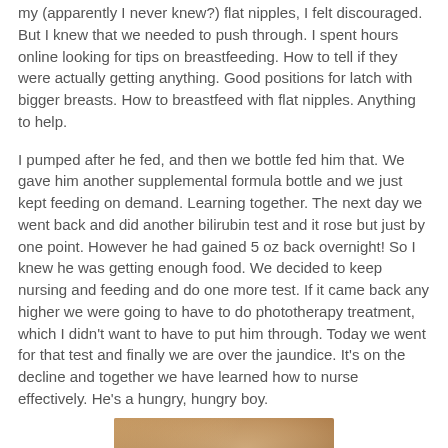my (apparently I never knew?) flat nipples, I felt discouraged. But I knew that we needed to push through. I spent hours online looking for tips on breastfeeding. How to tell if they were actually getting anything. Good positions for latch with bigger breasts. How to breastfeed with flat nipples. Anything to help.
I pumped after he fed, and then we bottle fed him that. We gave him another supplemental formula bottle and we just kept feeding on demand. Learning together. The next day we went back and did another bilirubin test and it rose but just by one point. However he had gained 5 oz back overnight! So I knew he was getting enough food. We decided to keep nursing and feeding and do one more test. If it came back any higher we were going to have to do phototherapy treatment, which I didn't want to have to put him through. Today we went for that test and finally we are over the jaundice. It's on the decline and together we have learned how to nurse effectively. He's a hungry, hungry boy.
[Figure (photo): A close-up photo of a newborn baby's face, resting on what appears to be a patterned blanket or wrap.]